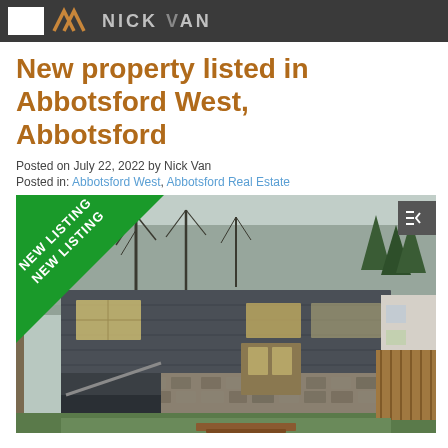Nick Van
New property listed in Abbotsford West, Abbotsford
Posted on July 22, 2022 by Nick Van
Posted in: Abbotsford West, Abbotsford Real Estate
[Figure (photo): Exterior photo of a split-level house with dark siding and stone facade, featuring a 'NEW LISTING' green banner overlay in the top-left corner. The house has large windows, a carport/garage, and is surrounded by bare trees and lawn.]